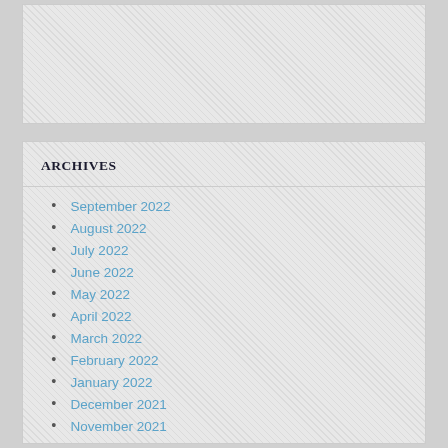[Figure (other): Empty placeholder box with hatched background pattern]
ARCHIVES
September 2022
August 2022
July 2022
June 2022
May 2022
April 2022
March 2022
February 2022
January 2022
December 2021
November 2021